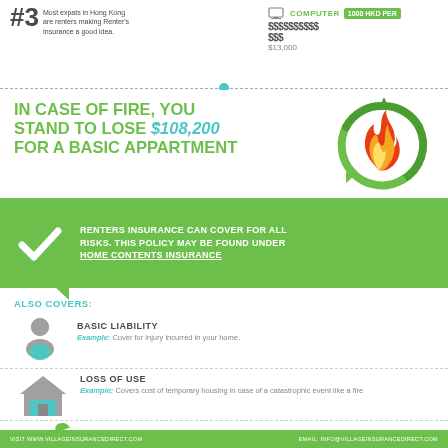#3 Most expats in Hong Kong are renters making Renter's Insurance a good idea.
COMPUTER $$$$$$$$$$$$ $13,000 1000 HKD PER
IN CASE OF FIRE, YOU STAND TO LOSE $108,200 FOR A BASIC APPARTMENT
[Figure (infographic): Fire flame icon with circular green shield/arrows around it]
RENTERS INSURANCE CAN COVER FOR ALL RISKS. THIS POLICY MAY BE FOUND UNDER HOME CONTENTS INSURANCE
ALSO COVERS:
BASIC LIABILITY
Example: Cover for injury incurred in your home.
[Figure (illustration): Grey icon of a person with briefcase]
LOSS OF USE
Example: Covers cost of temporary housing in case of a catastrophic event like a fire
[Figure (illustration): Grey icon of a house with blue base]
[Figure (logo): Village Insurance logo with green leaf]
WE HELP FIND INSURANCE FOR EXPATS IN HONG KONG CONNECT WITH US.
VISIT WWW.VILLAGEINSURANCEDIRECT.COM   EMAIL: INFO@VILLAGEINSURANCEDIRECT.COM